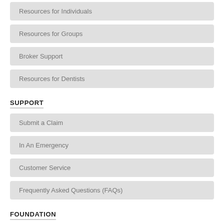Resources for Individuals
Resources for Groups
Broker Support
Resources for Dentists
SUPPORT
Submit a Claim
In An Emergency
Customer Service
Frequently Asked Questions (FAQs)
FOUNDATION
About Us